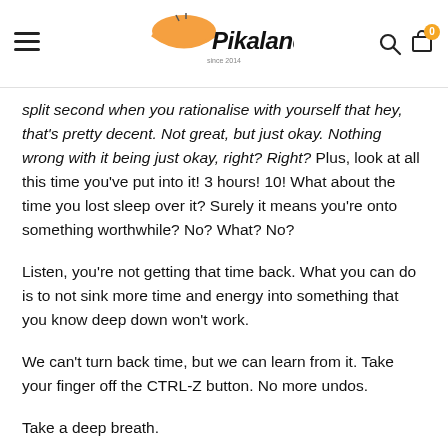Pikaland
split second when you rationalise with yourself that hey, that's pretty decent. Not great, but just okay. Nothing wrong with it being just okay, right? Right? Plus, look at all this time you've put into it! 3 hours! 10! What about the time you lost sleep over it? Surely it means you're onto something worthwhile? No? What? No?
Listen, you're not getting that time back. What you can do is to not sink more time and energy into something that you know deep down won't work.
We can't turn back time, but we can learn from it. Take your finger off the CTRL-Z button. No more undos.
Take a deep breath.
You know what you have to do.